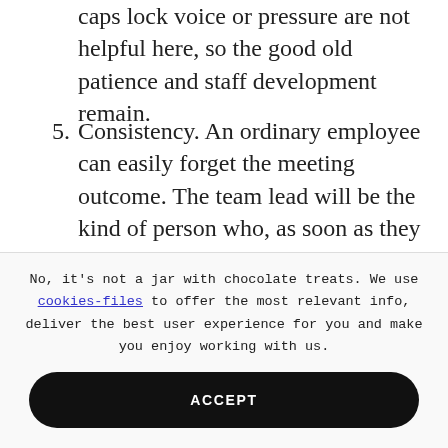caps lock voice or pressure are not helpful here, so the good old patience and staff development remain.
5. Consistency. An ordinary employee can easily forget the meeting outcome. The team lead will be the kind of person who, as soon as they say ‘hello’, starts jotting down the highlights of the meeting. Experience shows that forgetfulness is expensive.
No, it's not a jar with chocolate treats. We use cookies-files to offer the most relevant info, deliver the best user experience for you and make you enjoy working with us.
ACCEPT